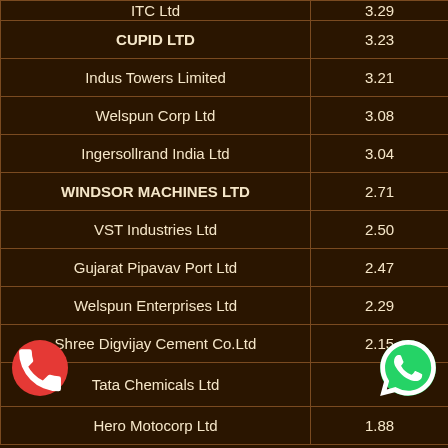| Company | Value |
| --- | --- |
| ITC Ltd | 3.29 |
| CUPID LTD | 3.23 |
| Indus Towers Limited | 3.21 |
| Welspun Corp Ltd | 3.08 |
| Ingersollrand India Ltd | 3.04 |
| WINDSOR MACHINES LTD | 2.71 |
| VST Industries Ltd | 2.50 |
| Gujarat Pipavav Port Ltd | 2.47 |
| Welspun Enterprises Ltd | 2.29 |
| Shree Digvijay Cement Co.Ltd | 2.15 |
| Tata Chemicals Ltd |  |
| Hero Motocorp Ltd | 1.88 |